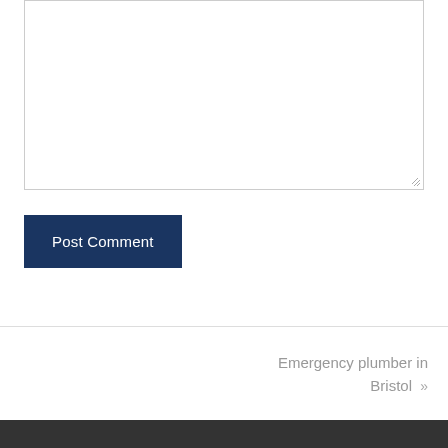[Figure (screenshot): Empty textarea input box with resize handle in bottom-right corner]
Post Comment
Emergency plumber in Bristol »